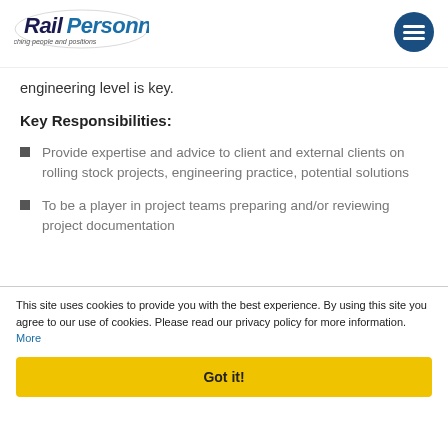[Figure (logo): RailPersonnel logo with tagline 'Matching people and positions']
engineering level is key.
Key Responsibilities:
Provide expertise and advice to client and external clients on rolling stock projects, engineering practice, potential solutions
To be a player in project teams preparing and/or reviewing project documentation
This site uses cookies to provide you with the best experience. By using this site you agree to our use of cookies. Please read our privacy policy for more information.
More
Got it!